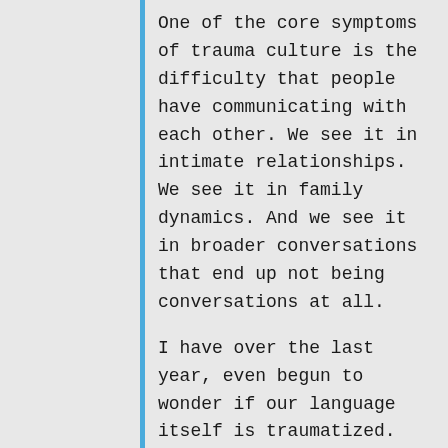One of the core symptoms of trauma culture is the difficulty that people have communicating with each other. We see it in intimate relationships. We see it in family dynamics. And we see it in broader conversations that end up not being conversations at all.
I have over the last year, even begun to wonder if our language itself is traumatized.
To wonder if the words and speech that we use, is actually reflective of the trauma that is embedded in so much of the culture that we live in.